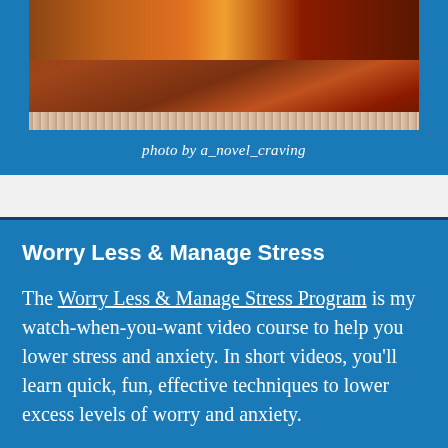[Figure (photo): Partial photo of books and decorative branches on a brown background, bottom portion visible]
photo by a_novel_craving
Worry Less & Manage Stress
The Worry Less & Manage Stress Program is my watch-when-you-want video course to help you lower stress and anxiety. In short videos, you'll learn quick, fun, effective techniques to lower excess levels of worry and anxiety.